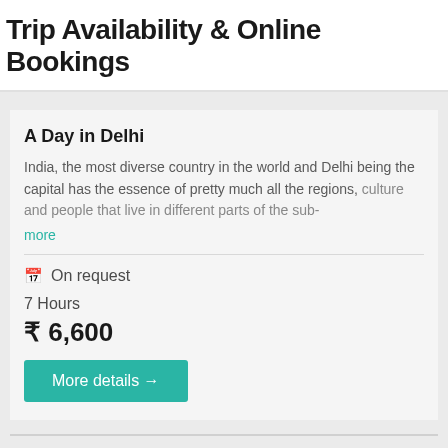Trip Availability & Online Bookings
A Day in Delhi
India, the most diverse country in the world and Delhi being the capital has the essence of pretty much all the regions, culture and people that live in different parts of the sub-
more
On request
7 Hours
₹ 6,600
More details →